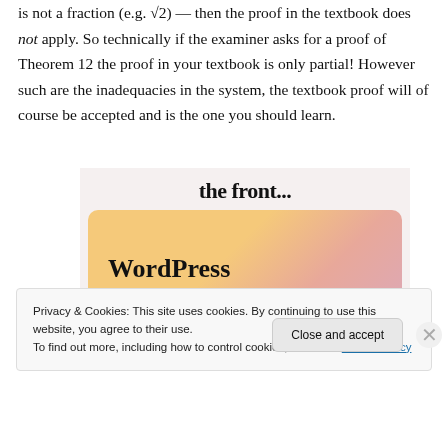is not a fraction (e.g. √2) — then the proof in the textbook does not apply. So technically if the examiner asks for a proof of Theorem 12 the proof in your textbook is only partial! However such are the inadequacies in the system, the textbook proof will of course be accepted and is the one you should learn.
[Figure (screenshot): Advertisement banner showing 'the front...' text at top and 'WordPress in the back.' text on a gradient orange-pink background]
Privacy & Cookies: This site uses cookies. By continuing to use this website, you agree to their use.
To find out more, including how to control cookies, see here: Cookie Policy
Close and accept